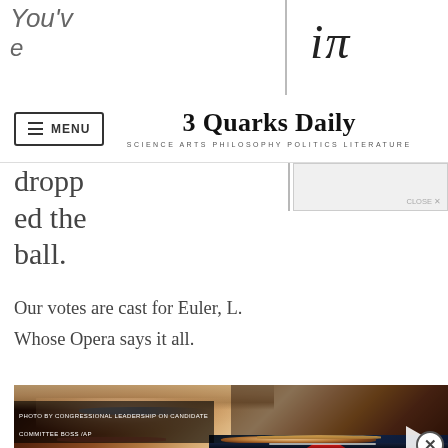3 Quarks Daily — SCIENCE ARTS PHILOSOPHY POLITICS LITERATURE
dropped the ball.
Our votes are cast for Euler, L.
Whose Opera says it all.
[Figure (photo): Close-up photo of a woman (Hillary Clinton) with an overlaid smaller video thumbnail showing a man (Donald Trump) with a play button, and a close button (X)]